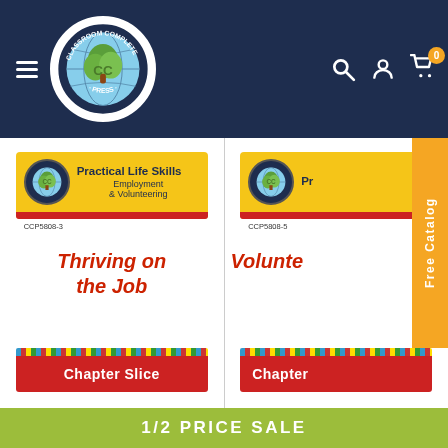[Figure (logo): Classroom Complete Press circular logo with tree and CC letters on a globe, navy background header with hamburger menu, search, profile, and cart icons]
[Figure (screenshot): Product card: Practical Life Skills - Employment & Volunteering, CCP5808-3, Thriving on the Job, Chapter Slice button]
[Figure (screenshot): Partial product card: Practical Life Skills - Employment & Volunteering, CCP5808-5, Volunteering, Chapter Slice button (partially visible)]
1/2 PRICE SALE